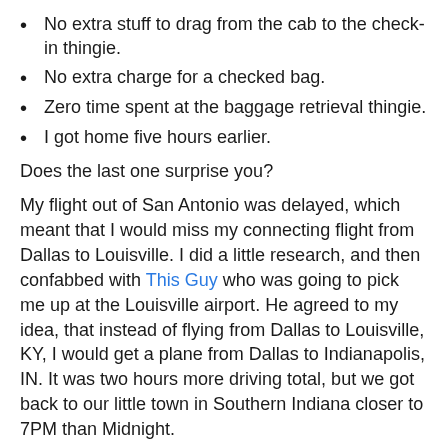No extra stuff to drag from the cab to the check-in thingie.
No extra charge for a checked bag.
Zero time spent at the baggage retrieval thingie.
I got home five hours earlier.
Does the last one surprise you?
My flight out of San Antonio was delayed, which meant that I would miss my connecting flight from Dallas to Louisville. I did a little research, and then confabbed with This Guy who was going to pick me up at the Louisville airport. He agreed to my idea, that instead of flying from Dallas to Louisville, KY, I would get a plane from Dallas to Indianapolis, IN. It was two hours more driving total, but we got back to our little town in Southern Indiana closer to 7PM than Midnight.
It was a win in our opinion, and it was easier to manage because I didn't have to worry about where my suitcase would land.